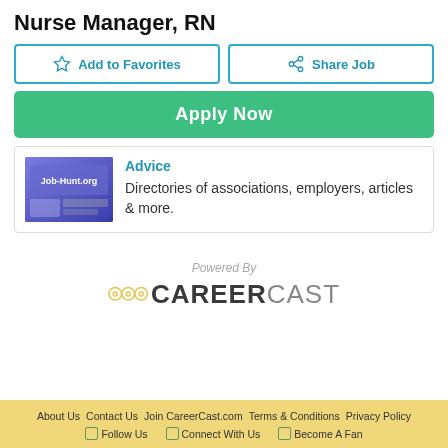Nurse Manager, RN
Add to Favorites
Share Job
Apply Now
[Figure (screenshot): Job-Hunt.org advertisement banner with purple/blue background showing the Job-Hunt.org logo]
Advice
Directories of associations, employers, articles & more.
[Figure (logo): Powered By CAREERCAST logo with signal wave icon in gold/yellow]
About Us  Contact Us  Join CareerCast.com  Terms & Conditions  Privacy Policy
Follow Us  Connect With Us  Become A Fan